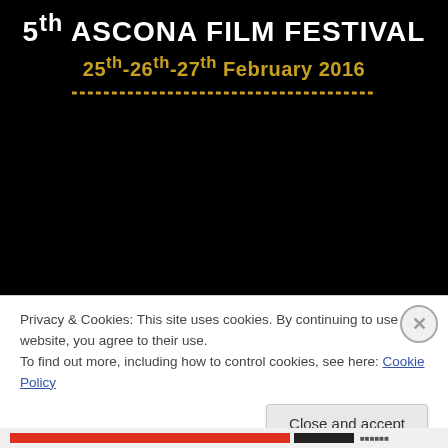[Figure (other): 5th Ascona Film Festival poster with black background showing white bold title text '5th ASCONA FILM FESTIVAL' and gold/yellow date text '25th-26th-27th February 2016' with a dotted gold line beneath]
Privacy & Cookies: This site uses cookies. By continuing to use this website, you agree to their use.
To find out more, including how to control cookies, see here: Cookie Policy
Close and accept